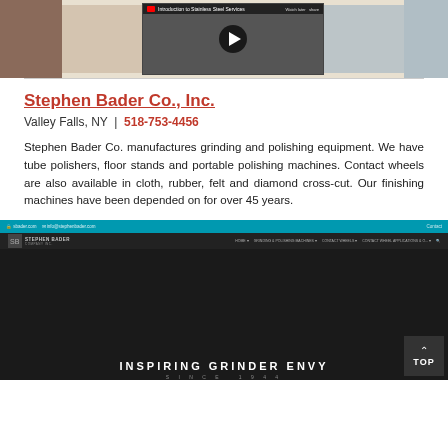[Figure (screenshot): Top banner with images: left section showing dark reddish material, center showing a YouTube video thumbnail titled 'Introduction to Stainless Steel Services' with a play button, right section showing blurred industrial imagery.]
Stephen Bader Co., Inc.
Valley Falls, NY  |  518-753-4456
Stephen Bader Co. manufactures grinding and polishing equipment. We have tube polishers, floor stands and portable polishing machines. Contact wheels are also available in cloth, rubber, felt and diamond cross-cut. Our finishing machines have been depended on for over 45 years.
[Figure (screenshot): Screenshot of the Stephen Bader Company Inc. website showing a dark themed homepage with navigation bar, the tagline 'INSPIRING GRINDER ENVY' and 'SINCE 1944'. A 'TOP' button is visible in the bottom right corner.]